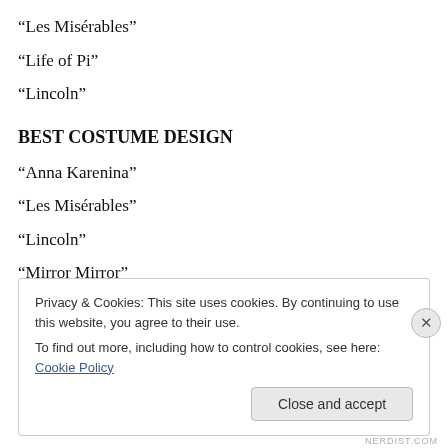“Les Misérables”
“Life of Pi”
“Lincoln”
BEST COSTUME DESIGN
“Anna Karenina”
“Les Misérables”
“Lincoln”
“Mirror Mirror”
“Snow White and the Huntsman”
Privacy & Cookies: This site uses cookies. By continuing to use this website, you agree to their use.
To find out more, including how to control cookies, see here: Cookie Policy
NERDIST.COM